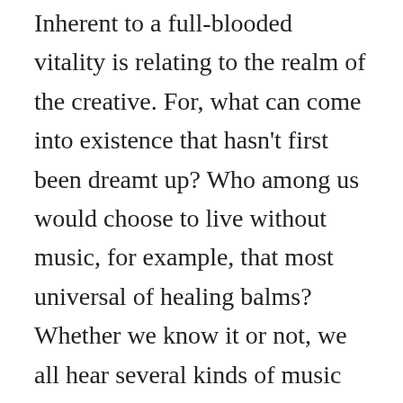Inherent to a full-blooded vitality is relating to the realm of the creative. For, what can come into existence that hasn't first been dreamt up? Who among us would choose to live without music, for example, that most universal of healing balms? Whether we know it or not, we all hear several kinds of music every day. The birds singing their wake-up songs in the early morn, the wind blowing through the tree branches, a loved one's voice in tender conversation, even the wild cacophony of traffic outside—all of these and more form a soundtrack to our lives which we synchronize with. We also surround ourselves with composed music in a variety of settings. Even deaf folks enjoy